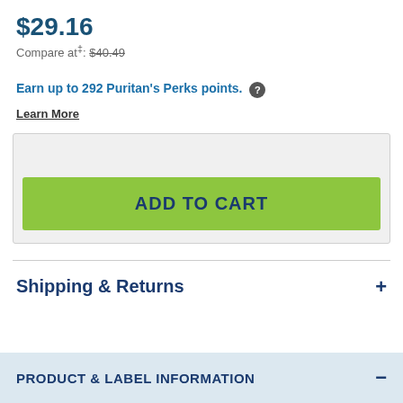$29.16
Compare at‡: $40.49
Earn up to 292 Puritan's Perks points.
Learn More
[Figure (other): Add to Cart button in green]
Shipping & Returns
PRODUCT & LABEL INFORMATION